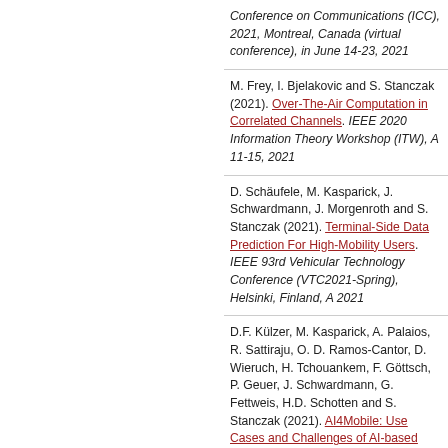Conference on Communications (ICC), 2021, Montreal, Canada (virtual conference), in June 14-23, 2021
M. Frey, I. Bjelakovic and S. Stanczak (2021). Over-The-Air Computation in Correlated Channels. IEEE 2020 Information Theory Workshop (ITW), A 11-15, 2021
D. Schäufele, M. Kasparick, J. Schwardmann, J. Morgenroth and S. Stanczak (2021). Terminal-Side Data Prediction For High-Mobility Users. IEEE 93rd Vehicular Technology Conference (VTC2021-Spring), Helsinki, Finland, A 2021
D.F. Külzer, M. Kasparick, A. Palaios, R. Sattiraju, O. D. Ramos-Cantor, D. Wieruch, H. Tchouankem, F. Göttsch, P. Geuer, J. Schwardmann, G. Fettweis, H.D. Schotten and S. Stanczak (2021). AI4Mobile: Use Cases and Challenges of AI-based QoS Prediction for High-Mobility Scenarios. IEEE Vehicular Technology Conference (VTC Spring) 2021, April 25-28, in Helsinki, Finland